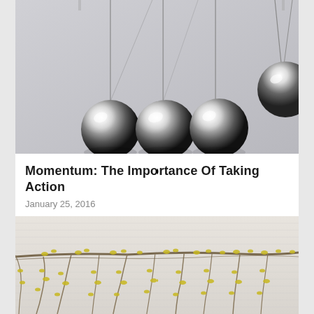[Figure (photo): Newton's cradle with shiny metallic balls hanging from strings against a light gray background. Three balls hang stationary on the left and one ball is swung out to the right.]
Momentum: The Importance Of Taking Action
January 25, 2016
[Figure (photo): Climbing vines with small yellow flowers growing on a white/light gray corrugated or ribbed wall surface.]